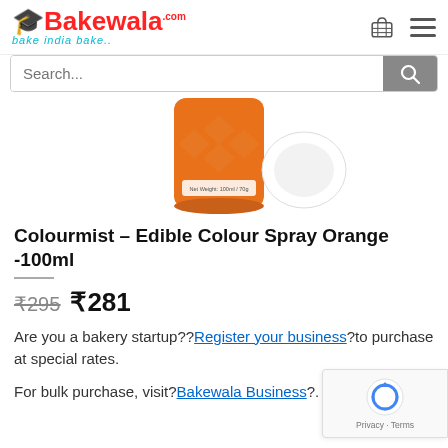[Figure (logo): Bakewala logo with chef hat icon and tagline 'bake india bake...']
[Figure (photo): Orange Colourmist edible colour spray can (100ml) with white cap beside it]
Colourmist – Edible Colour Spray Orange -100ml
₹295  ₹281
Are you a bakery startup??Register your business?to purchase at special rates.
For bulk purchase, visit?Bakewala Business?.